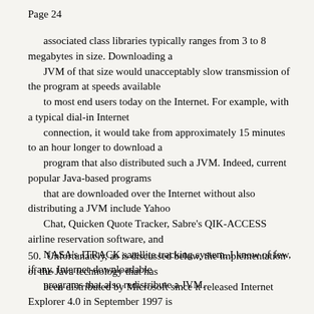Page 24
associated class libraries typically ranges from 3 to 8 megabytes in size. Downloading a JVM of that size would unacceptably slow transmission of the program at speeds available to most end users today on the Internet. For example, with a typical dial-in Internet connection, it would take from approximately 15 minutes to an hour longer to download a program that also distributed such a JVM. Indeed, current popular Java-based programs that are downloaded over the Internet without also distributing a JVM include Yahoo Chat, Quicken Quote Tracker, Sabre's QIK-ACCESS airline reservation software, and NASA's JTRACK satellite tracking system. I know of few, if any, Internet-downloadable programs that also redistribute a JVM.
50.  Unfortunately, as is discussed below, the implementation of the Java technology that has been distributed by Microsoft since it released Internet Explorer 4.0 in September 1997 is